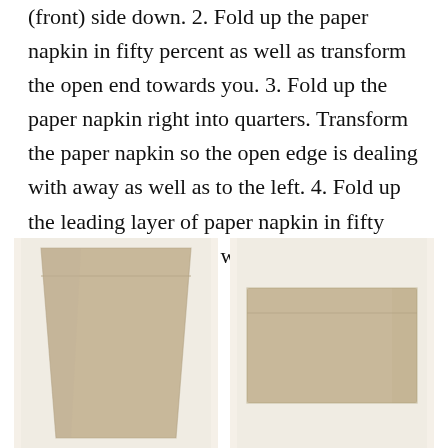(front) side down. 2. Fold up the paper napkin in fifty percent as well as transform the open end towards you. 3. Fold up the paper napkin right into quarters. Transform the paper napkin so the open edge is dealing with away as well as to the left. 4. Fold up the leading layer of paper napkin in fifty percent diagonally as well as push it down.
[Figure (photo): Two photos of beige/tan cloth napkins folded flat, showing folding steps side by side.]